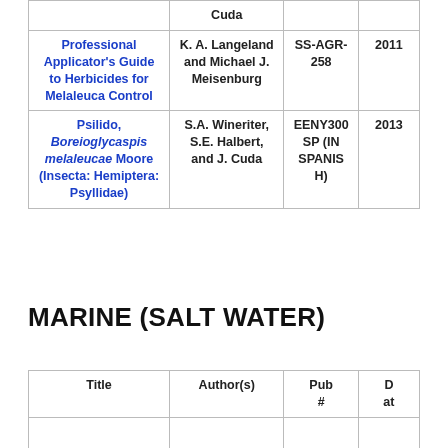| Title | Author(s) | Pub # | Date |
| --- | --- | --- | --- |
| Cuda |  |  |  |
| Professional Applicator's Guide to Herbicides for Melaleuca Control | K. A. Langeland and Michael J. Meisenburg | SS-AGR-258 | 2011 |
| Psilido, Boreioglycaspis melaleucae Moore (Insecta: Hemiptera: Psyllidae) | S.A. Wineriter, S.E. Halbert, and J. Cuda | EENY300 SP (IN SPANISH) | 2013 |
MARINE (SALT WATER)
| Title | Author(s) | Pub # | Dat... |
| --- | --- | --- | --- |